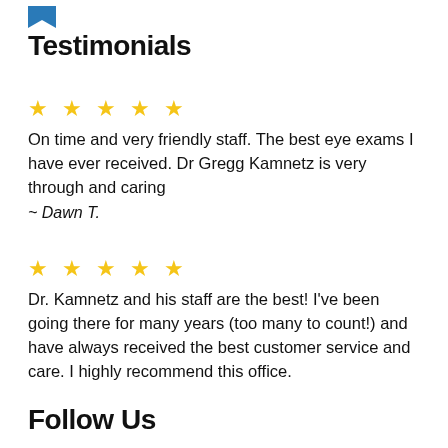[Figure (logo): Blue bookmark/ribbon icon at top left]
Testimonials
★ ★ ★ ★ ★
On time and very friendly staff. The best eye exams I have ever received. Dr Gregg Kamnetz is very through and caring
~ Dawn T.
★ ★ ★ ★ ★
Dr. Kamnetz and his staff are the best! I've been going there for many years (too many to count!) and have always received the best customer service and care. I highly recommend this office.
Follow Us